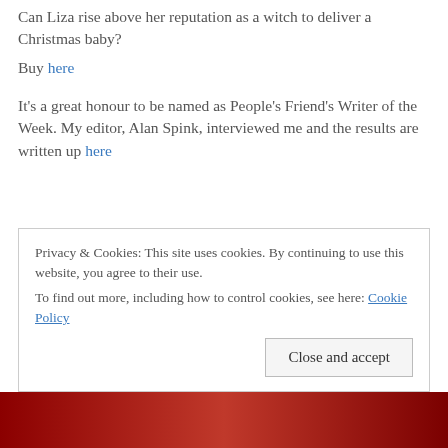Can Liza rise above her reputation as a witch to deliver a Christmas baby?
Buy here
It's a great honour to be named as People's Friend's Writer of the Week. My editor, Alan Spink, interviewed me and the results are written up here
Privacy & Cookies: This site uses cookies. By continuing to use this website, you agree to their use.
To find out more, including how to control cookies, see here: Cookie Policy
Close and accept